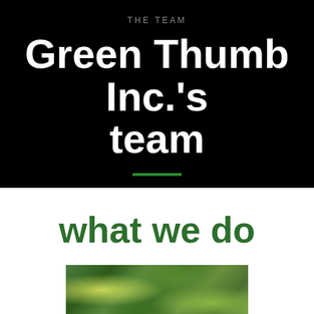THE TEAM
Green Thumb Inc.'s team
what we do
[Figure (photo): A lush tropical garden scene with dense green foliage, palm-like plants, and colorful flowering plants visible at the left side. An outdoor garden or yard setting.]